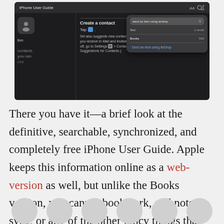[Figure (screenshot): iPhone User Guide app screenshot showing 'Create a contact' section with a dark UI, and a search popup showing 'send an item using airdrop' with results in Books (542) and a result 'Send an item using AirDrop']
There you have it—a brief look at the definitive, searchable, synchronized, and completely free iPhone User Guide. Apple keeps this information online as a web-version as well, but unlike the Books version, you cannot bookmark, add notes, sync, or any of the other fancy things that Books allows you to do.